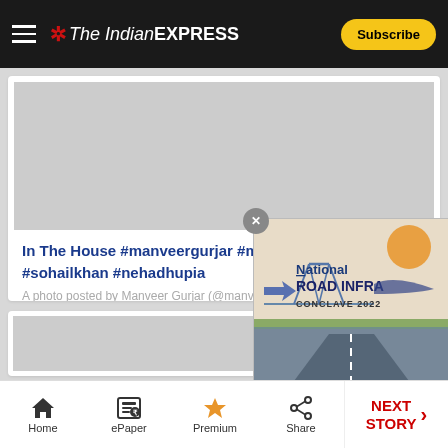The Indian EXPRESS — Subscribe
[Figure (screenshot): Gray placeholder / advertisement area at top of page]
In The House #manveergurjar #manupunjabi #sohailkhan #nehadhupia
A photo posted by Manveer Gurjar (@manveergurjar) on Fe…
[Figure (other): National Road Infra Conclave 2022 advertisement popup overlay]
[Figure (screenshot): Second gray placeholder content card]
Home | ePaper | Premium | Share | NEXT STORY